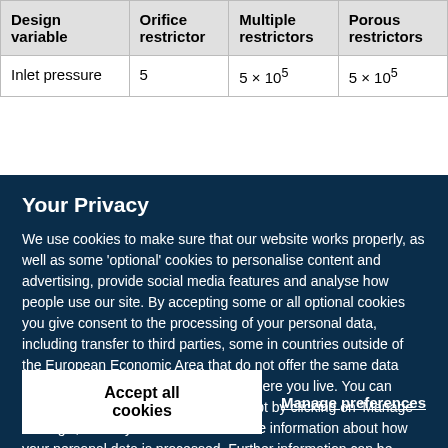| Design variable | Orifice restrictor | Multiple restrictors | Porous restrictors |
| --- | --- | --- | --- |
| Inlet pressure | 5 | 5 × 10⁵ | 5 × 10⁵ |
Your Privacy
We use cookies to make sure that our website works properly, as well as some 'optional' cookies to personalise content and advertising, provide social media features and analyse how people use our site. By accepting some or all optional cookies you give consent to the processing of your personal data, including transfer to third parties, some in countries outside of the European Economic Area that do not offer the same data protection standards as the country where you live. You can decide which optional cookies to accept by clicking on 'Manage Settings', where you can also find more information about how your personal data is processed. Further information can be found in our privacy policy.
Accept all cookies
Manage preferences